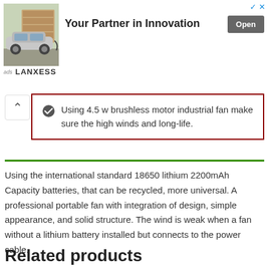[Figure (screenshot): Advertisement banner for LANXESS showing a car image, 'Your Partner in Innovation' tagline, and an Open button]
Using 4.5 w brushless motor industrial fan make sure the high winds and long-life.
Using the international standard 18650 lithium 2200mAh Capacity batteries, that can be recycled, more universal. A professional portable fan with integration of design, simple appearance, and solid structure. The wind is weak when a fan without a lithium battery installed but connects to the power cable.
Related products